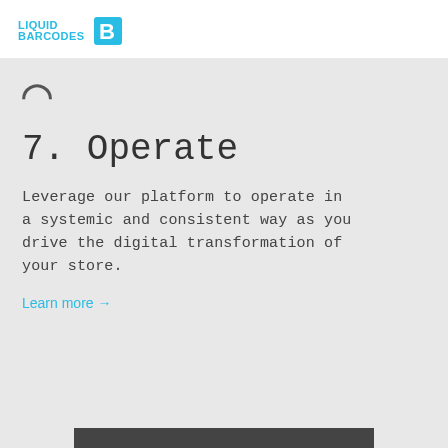LIQUID BARCODES
3
7. Operate
Leverage our platform to operate in a systemic and consistent way as you drive the digital transformation of your store.
Learn more →